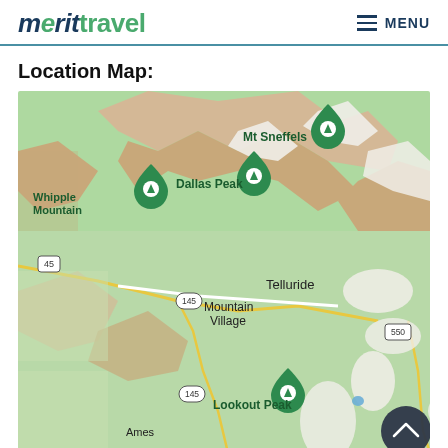merit travel  MENU
Location Map:
[Figure (map): Google Maps style topographic map showing the Telluride, Colorado area. Visible landmarks include Mt Sneffels, Dallas Peak, Whipple Mountain, Mountain Village, Telluride, Lookout Peak, Ames. Roads labeled 45, 145, and 550 are visible. Green location pins mark the mountain peaks.]